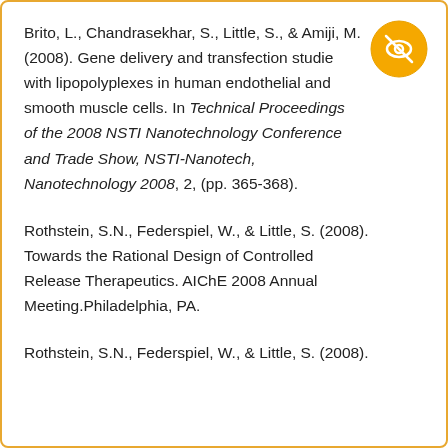Brito, L., Chandrasekhar, S., Little, S., & Amiji, M. (2008). Gene delivery and transfection studies with lipopolyplexes in human endothelial and smooth muscle cells. In Technical Proceedings of the 2008 NSTI Nanotechnology Conference and Trade Show, NSTI-Nanotech, Nanotechnology 2008, 2, (pp. 365-368).
Rothstein, S.N., Federspiel, W., & Little, S. (2008). Towards the Rational Design of Controlled Release Therapeutics. AIChE 2008 Annual Meeting.Philadelphia, PA.
Rothstein, S.N., Federspiel, W., & Little, S. (2008).